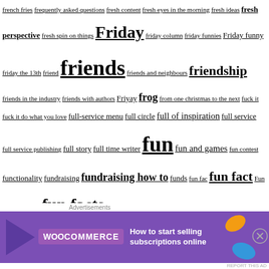french fries frequently asked questions fresh content fresh eyes in the morning fresh ideas fresh perspective fresh spin on things Friday friday column friday funnies Friday funny friday the 13th friend friends friends and neighbours friendship friends in the industry friends with authors Friyay frog from one christmas to the next fuck it fuck it do what you love full-service menu full circle full of inspiration full service full service publishing full story full time writer fun fun and games fun contest functionality fundraising fundraising how to funds fun fac fun fact Fun fact of the day fun facts fun facts about our books fun games for kids fun idea fun interesting and amazing facts fun little contest funny funny book future future generations future of publishing future you fuzzy FYI gadgets Gaiman gain new skills gain their trust gamble game game changer Gap Gary Provost Gaston gather information gator book gators general public genius genre genre info genres genre specific geography germany gestures get a mentor get back on track get back to work get better get clear about what you want get feedback get inside the mind of your customers get it done get it on paper get more free time get noticed get on the rocket ship get organized get
[Figure (other): WooCommerce advertisement banner: purple background with WooCommerce logo and arrow, text 'How to start selling subscriptions online', decorative orange and blue shapes, close button]